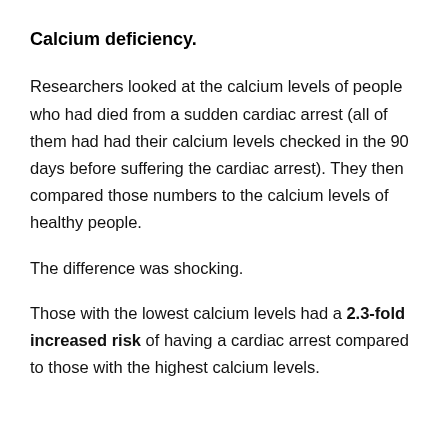Calcium deficiency.
Researchers looked at the calcium levels of people who had died from a sudden cardiac arrest (all of them had had their calcium levels checked in the 90 days before suffering the cardiac arrest). They then compared those numbers to the calcium levels of healthy people.
The difference was shocking.
Those with the lowest calcium levels had a 2.3-fold increased risk of having a cardiac arrest compared to those with the highest calcium levels.